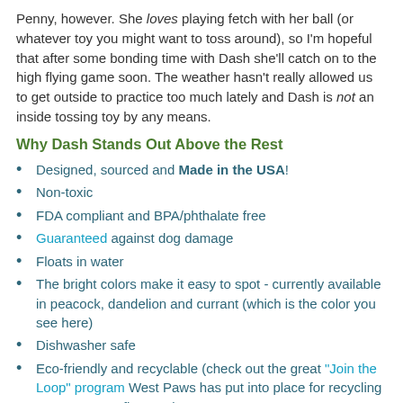Penny, however. She loves playing fetch with her ball (or whatever toy you might want to toss around), so I'm hopeful that after some bonding time with Dash she'll catch on to the high flying game soon. The weather hasn't really allowed us to get outside to practice too much lately and Dash is not an inside tossing toy by any means.
Why Dash Stands Out Above the Rest
Designed, sourced and Made in the USA!
Non-toxic
FDA compliant and BPA/phthalate free
Guaranteed against dog damage
Floats in water
The bright colors make it easy to spot - currently available in peacock, dandelion and currant (which is the color you see here)
Dishwasher safe
Eco-friendly and recyclable (check out the great "Join the Loop" program West Paws has put into place for recycling worn-out Zogoflex toys)